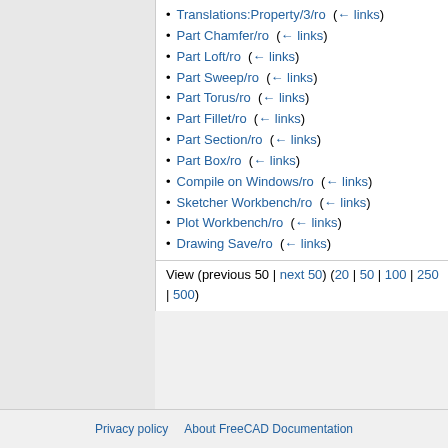Translations:Property/3/ro  (← links)
Part Chamfer/ro  (← links)
Part Loft/ro  (← links)
Part Sweep/ro  (← links)
Part Torus/ro  (← links)
Part Fillet/ro  (← links)
Part Section/ro  (← links)
Part Box/ro  (← links)
Compile on Windows/ro  (← links)
Sketcher Workbench/ro  (← links)
Plot Workbench/ro  (← links)
Drawing Save/ro  (← links)
View (previous 50 | next 50) (20 | 50 | 100 | 250 | 500)
Privacy policy   About FreeCAD Documentation